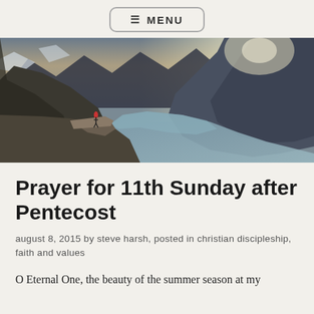≡ MENU
[Figure (photo): A person in a red jacket standing on a rocky cliff ledge overlooking a dramatic fjord landscape with mountains and a winding river/lake below, under a bright hazy sky.]
Prayer for 11th Sunday after Pentecost
august 8, 2015 by steve harsh, posted in christian discipleship, faith and values
O Eternal One, the beauty of the summer season at my